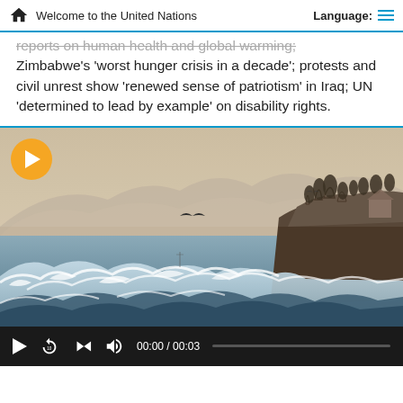Welcome to the United Nations | Language:
reports on human health and global warming; Zimbabwe's 'worst hunger crisis in a decade'; protests and civil unrest show 'renewed sense of patriotism' in Iraq; UN 'determined to lead by example' on disability rights.
[Figure (screenshot): Video player showing a stormy ocean scene with large waves, a rocky coastline with trees on the right, misty mountains in the background, and a bird in flight. An orange play button is overlaid in the top-left corner. Video controls at the bottom show 00:00 / 00:03 with a progress bar.]